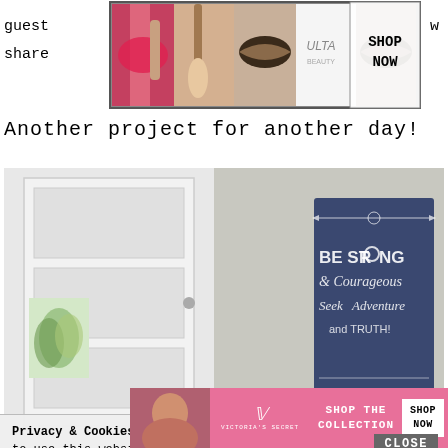guest w share
[Figure (photo): Ulta beauty advertisement banner with makeup images and SHOP NOW button]
Another project for another day!
[Figure (photo): Room photo showing a white door and a navy blue canvas sign reading BE STRONG & Courageous Seek Adventure and Truth!]
Privacy & Cookies: This site uses cookies. By continuing to use this website, you agree to their use.
To find out more, including how to control cookies, see here: Cookie Policy
[Figure (photo): Victoria's Secret advertisement with model, VS logo, SHOP THE COLLECTION text, and SHOP NOW button]